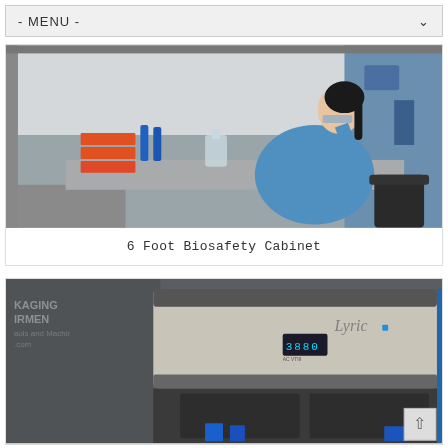- MENU -
[Figure (photo): A lab technician in a blue lab coat working inside a 6-foot biosafety cabinet, handling laboratory samples including red-orange plates and blue tubes. The cabinet has a silver stainless steel interior.]
6 Foot Biosafety Cabinet
[Figure (photo): A large laboratory instrument, likely a biosafety cabinet or similar equipment branded 'Lyric', with a silver/beige housing, a digital display reading '3880', and visible blue containers at the bottom. Partial text visible on left reads 'KAGING IRMEN' and '.com'.]